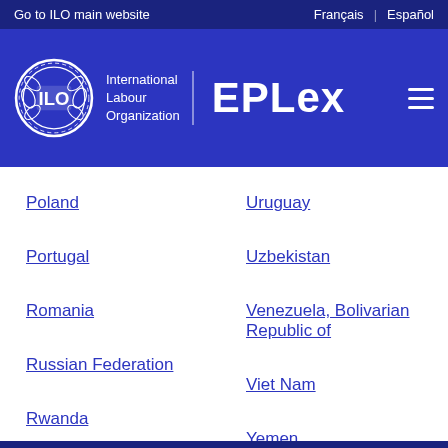Go to ILO main website | Français | Español
[Figure (logo): ILO EPLex logo with International Labour Organization text and ILO emblem on blue background]
Poland
Uruguay
Portugal
Uzbekistan
Romania
Venezuela, Bolivarian Republic of
Russian Federation
Viet Nam
Rwanda
Yemen
Saint Lucia
Zambia
Saudi Arabia
Senegal